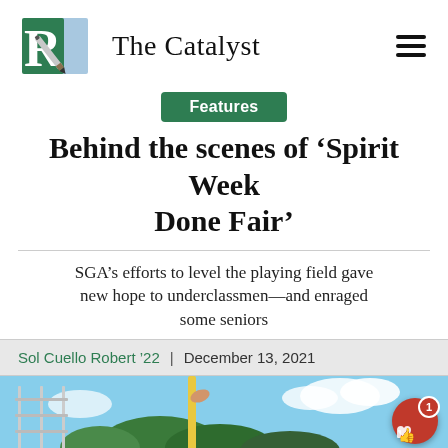[Figure (logo): The Catalyst newspaper logo: green and light-blue block letters RE with a pen/pencil diagonal, followed by the text 'The Catalyst' and a hamburger menu icon]
Features
Behind the scenes of ‘Spirit Week Done Fair’
SGA’s efforts to level the playing field gave new hope to underclassmen—and enraged some seniors
Sol Cuello Robert ’22 | December 13, 2021
[Figure (photo): Outdoor photo showing fence and trees under a blue sky with hands/people visible in the foreground]